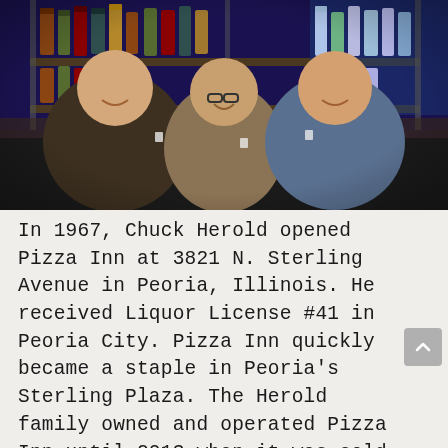[Figure (photo): Three men standing together at a bar, smiling and holding shot glasses. Behind them is a well-stocked bar shelf with many liquor bottles. The bar shelves have blue/purple lighting. The men are wearing casual shirts.]
In 1967, Chuck Herold opened Pizza Inn at 3821 N. Sterling Avenue in Peoria, Illinois. He received Liquor License #41 in Peoria City. Pizza Inn quickly became a staple in Peoria's Sterling Plaza. The Herold family owned and operated Pizza Inn until 2013 when it was sold to another Pizza Franchise.